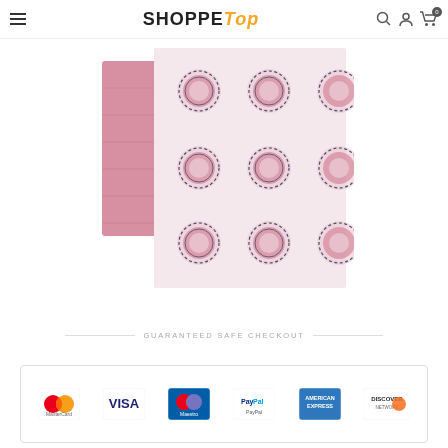[Figure (logo): ShoppeTop website header with hamburger menu, logo, search icon, user icon, and cart with 0 badge]
[Figure (photo): Two pink baby swaddle blankets - one solid pink muslin and one patterned with pink and dark grey circular medallion design on white background]
GUARANTEED SAFE CHECKOUT
[Figure (infographic): Safe checkout payment icons: MasterCard, Visa, Maestro, PayPal, American Express, Discover Network]